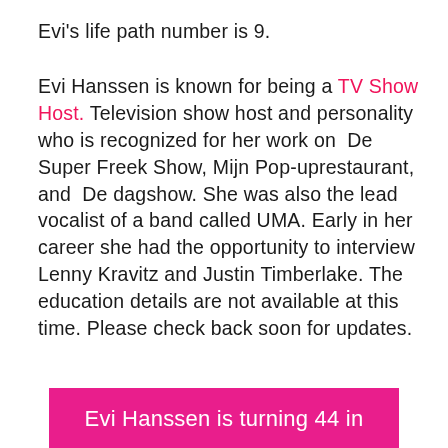Evi's life path number is 9.
Evi Hanssen is known for being a TV Show Host. Television show host and personality who is recognized for her work on De Super Freek Show, Mijn Pop-uprestaurant, and De dagshow. She was also the lead vocalist of a band called UMA. Early in her career she had the opportunity to interview Lenny Kravitz and Justin Timberlake. The education details are not available at this time. Please check back soon for updates.
Evi Hanssen is turning 44 in